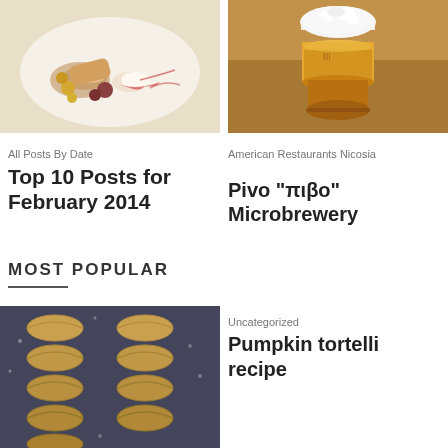[Figure (photo): Food plate with rolled salmon, cream, berry sauce and garnish on white plate]
[Figure (photo): Glass of golden beer with foam head on wooden surface]
All Posts By Date
Top 10 Posts for February 2014
American Restaurants Nicosia
Pivo “πιβο” Microbrewery
MOST POPULAR
[Figure (photo): Rows of pumpkin tortelli pasta on dark floured surface]
Uncategorized
Pumpkin tortelli recipe